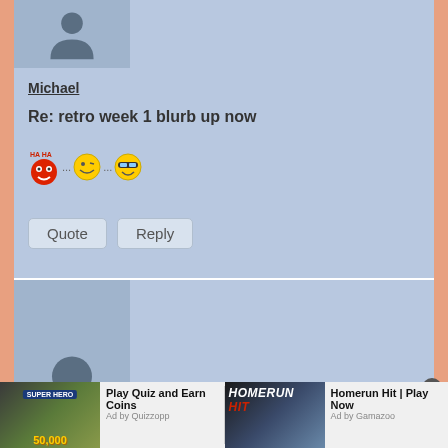[Figure (photo): User avatar silhouette placeholder image for Michael]
Michael
Re: retro week 1 blurb up now
[Figure (illustration): Three emoticons: haha laughing face, winking smiley, and cool sunglasses smiley with ellipsis dots between them]
Quote   Reply
[Figure (photo): Second user avatar silhouette placeholder image]
[Figure (infographic): Advertisement banner: Play Quiz and Earn Coins - Ad by Quizzopp, and Homerun Hit | Play Now - Ad by Gamazoo]